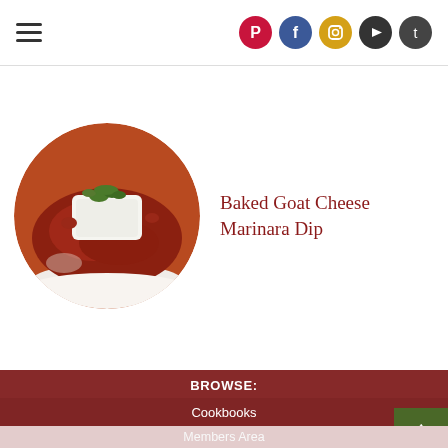Navigation header with hamburger menu and social icons (Pinterest, Facebook, Instagram, YouTube, Twitter)
[Figure (photo): Circular photo of Baked Goat Cheese Marinara Dip in a white bowl — white goat cheese topped with fresh herbs sits in rich red marinara sauce]
Baked Goat Cheese Marinara Dip
BROWSE:
Blog
Cookbooks
Recipe Index
Members Area